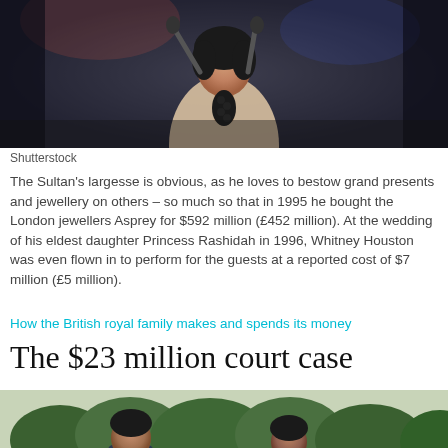[Figure (photo): A woman in a halter dress holding a microphone, performing on stage with dark background]
Shutterstock
The Sultan's largesse is obvious, as he loves to bestow grand presents and jewellery on others – so much so that in 1995 he bought the London jewellers Asprey for $592 million (£452 million). At the wedding of his eldest daughter Princess Rashidah in 1996, Whitney Houston was even flown in to perform for the guests at a reported cost of $7 million (£5 million).
How the British royal family makes and spends its money
The $23 million court case
[Figure (photo): Two men standing outdoors with trees in the background]